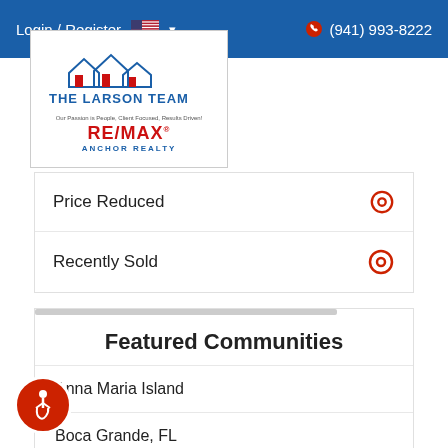Login / Register   (941) 993-8222
[Figure (logo): The Larson Team RE/MAX Anchor Realty logo with house illustration]
Price Reduced
Recently Sold
Featured Communities
Anna Maria Island
Boca Grande, FL
Bokeelia, FL